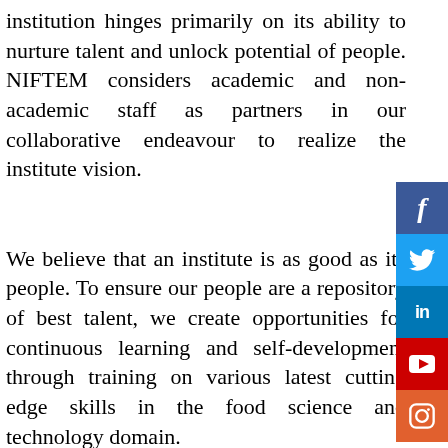institution hinges primarily on its ability to nurture talent and unlock potential of people. NIFTEM considers academic and non-academic staff as partners in our collaborative endeavour to realize the institute vision.
We believe that an institute is as good as its people. To ensure our people are a repository of best talent, we create opportunities for continuous learning and self-development through training on various latest cutting edge skills in the food science and technology domain.